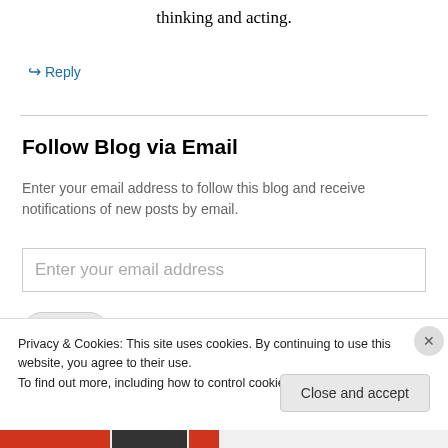thinking and acting.
↪ Reply
Follow Blog via Email
Enter your email address to follow this blog and receive notifications of new posts by email.
Enter your email address
Privacy & Cookies: This site uses cookies. By continuing to use this website, you agree to their use.
To find out more, including how to control cookies, see here: Cookie Policy
Close and accept